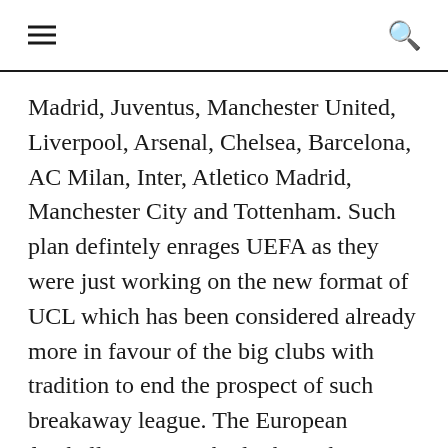[hamburger menu] [search icon]
Madrid, Juventus, Manchester United, Liverpool, Arsenal, Chelsea, Barcelona, AC Milan, Inter, Atletico Madrid, Manchester City and Tottenham. Such plan defintely enrages UEFA as they were just working on the new format of UCL which has been considered already more in favour of the big clubs with tradition to end the prospect of such breakaway league. The European football governing body through its president, Alexander Ceferin, responded bitterly and is ready to capitalise the threats he has warned a few months ago when this issue came to the surface, which is banning each and every party involved in that project, including the players, managers